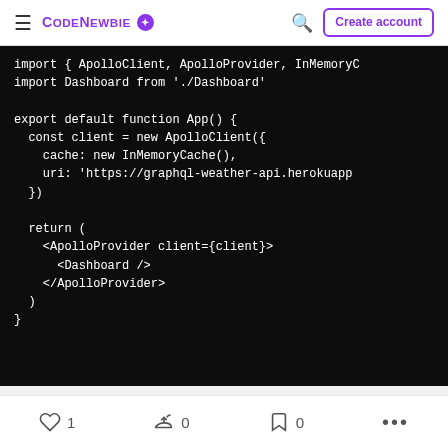CodeNewbie — Create account
[Figure (screenshot): Dark code editor block showing JavaScript code for an Apollo Client React app, including imports, ApolloClient configuration with InMemoryCache and graphql-weather-api URI, and a return statement with ApolloProvider and Dashboard components.]
1 like, 0 reactions, 0 bookmarks